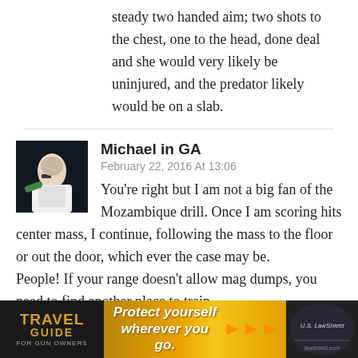steady two handed aim; two shots to the chest, one to the head, done deal and she would very likely be uninjured, and the predator likely would be on a slab.
Michael in GA
February 22, 2016 At 13:06
You're right but I am not a big fan of the Mozambique drill. Once I am scoring hits center mass, I continue, following the mass to the floor or out the door, which ever the case may be.
People! If your range doesn't allow mag dumps, you need to find another place to train.
5 shots on 5 inch target from 5 yards in 1 ...onds drawing
[Figure (photo): Advertisement banner: Travel Guide for Gun Owners, with text 'Protect yourself wherever you go.' and US LawShield branding]